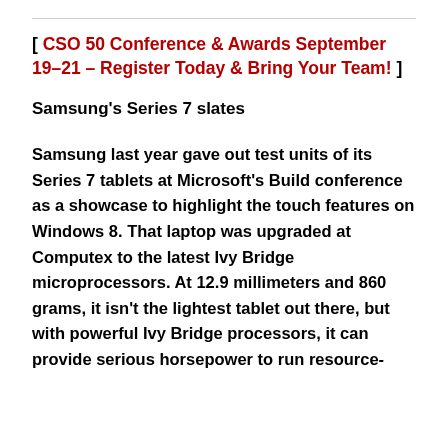[ CSO 50 Conference & Awards September 19-21 – Register Today & Bring Your Team! ]
Samsung's Series 7 slates
Samsung last year gave out test units of its Series 7 tablets at Microsoft's Build conference as a showcase to highlight the touch features on Windows 8. That laptop was upgraded at Computex to the latest Ivy Bridge microprocessors. At 12.9 millimeters and 860 grams, it isn't the lightest tablet out there, but with powerful Ivy Bridge processors, it can provide serious horsepower to run resource-